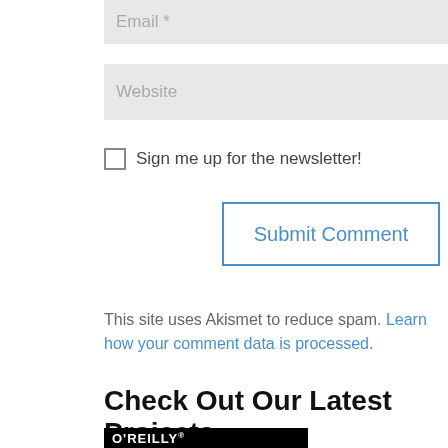Email *
Website
Sign me up for the newsletter!
Submit Comment
This site uses Akismet to reduce spam. Learn how your comment data is processed.
Check Out Our Latest Projects
[Figure (logo): O'REILLY logo in white text on black background]